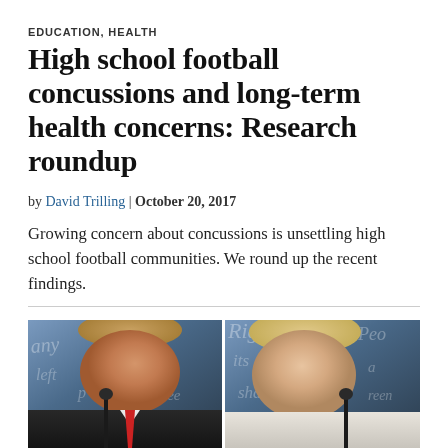EDUCATION, HEALTH
High school football concussions and long-term health concerns: Research roundup
by David Trilling | October 20, 2017
Growing concern about concussions is unsettling high school football communities. We round up the recent findings.
[Figure (photo): Side-by-side photo of two people at debate podiums with blue scripted backdrop. Left: man in dark suit with red tie speaking into microphone. Right: woman in white/cream jacket looking sideways.]